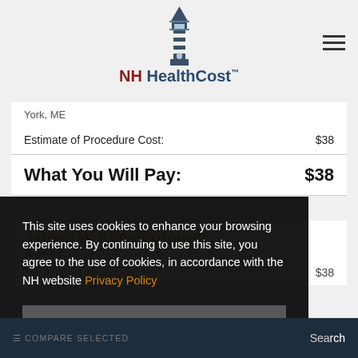[Figure (logo): NH HealthCost lighthouse logo with text]
York, ME
|  |  |
| --- | --- |
| Estimate of Procedure Cost: | $38 |
| What You Will Pay: | $38 |
This site uses cookies to enhance your browsing experience. By continuing to use this site, you agree to the use of cookies, in accordance with the NH website Privacy Policy
OK ✓
$38
COMPARE SELECTED    Search